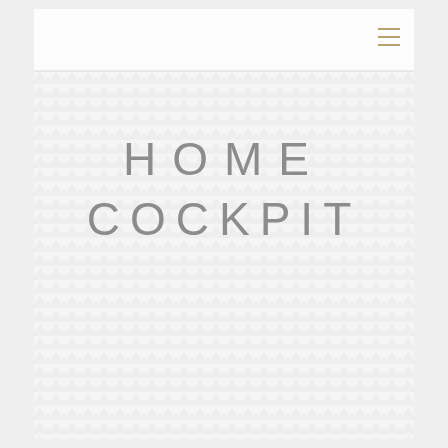[Figure (illustration): Cover page of Home Cockpit app/website screenshot with triangular geometric pattern background in light grey/white. A hamburger menu icon (three horizontal lines in gold/tan color) appears in the top-right corner. The main content shows the title 'HOME COCKPIT' in large, thin, widely-spaced grey uppercase letters centered on the page.]
HOME COCKPIT